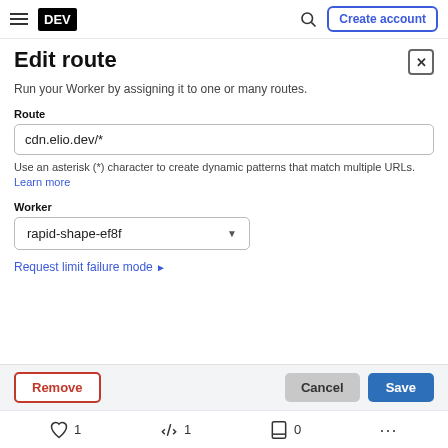DEV | Create account
Edit route
Run your Worker by assigning it to one or many routes.
Route
cdn.elio.dev/*
Use an asterisk (*) character to create dynamic patterns that match multiple URLs. Learn more
Worker
rapid-shape-ef8f
Request limit failure mode ▶
Remove  Cancel  Save
♡ 1   1   ☐ 0  ...